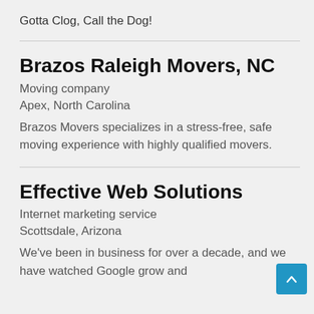Gotta Clog, Call the Dog!
Brazos Raleigh Movers, NC
Moving company
Apex, North Carolina
Brazos Movers specializes in a stress-free, safe moving experience with highly qualified movers.
Effective Web Solutions
Internet marketing service
Scottsdale, Arizona
We've been in business for over a decade, and we have watched Google grow and